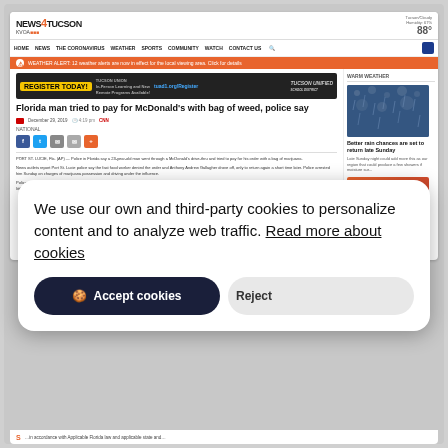[Figure (screenshot): News4Tucson (KVOA) website screenshot showing article 'Florida man tried to pay for McDonald's with bag of weed, police say', with weather sidebar and cookie consent overlay]
We use our own and third-party cookies to personalize content and to analyze web traffic. Read more about cookies
Accept cookies
Reject